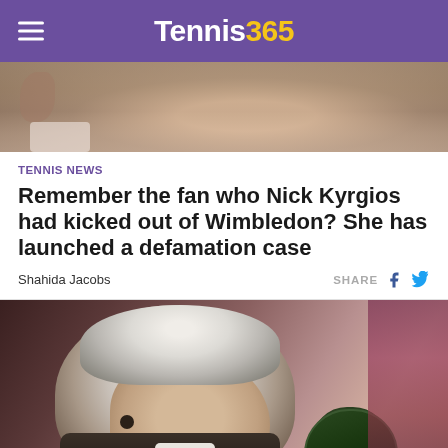Tennis365
[Figure (photo): Partial photo of a person at top of article]
TENNIS NEWS
Remember the fan who Nick Kyrgios had kicked out of Wimbledon? She has launched a defamation case
Shahida Jacobs
[Figure (photo): Photo of an older man with white/grey hair wearing an earpiece, speaking into a Wimbledon-branded microphone, with a blurred crowd background]